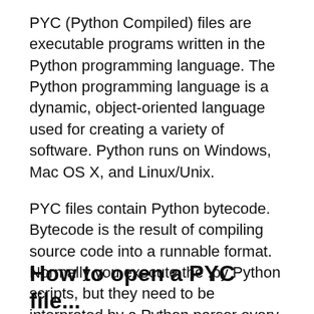PYC (Python Compiled) files are executable programs written in the Python programming language. The Python programming language is a dynamic, object-oriented language used for creating a variety of software. Python runs on Windows, Mac OS X, and Linux/Unix.
PYC files contain Python bytecode. Bytecode is the result of compiling source code into a runnable format. Normally you execute the .py Python scripts, but they need to be interpreted by a Python parser every time you run them. They can be compiled into PYC files that are faster to run because they do not need to be parsed.
How to open a PYC file...